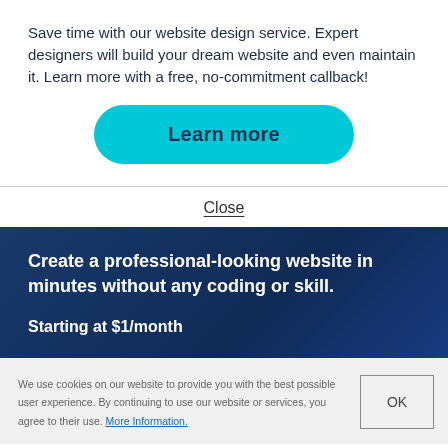Save time with our website design service. Expert designers will build your dream website and even maintain it. Learn more with a free, no-commitment callback!
Learn more
Close
Create a professional-looking website in minutes without any coding or skill.
Starting at $1/month
We use cookies on our website to provide you with the best possible user experience. By continuing to use our website or services, you agree to their use. More Information.
OK